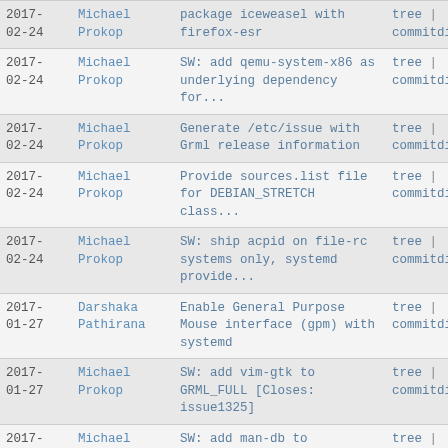| Date | Author | Commit message | Links |
| --- | --- | --- | --- |
| 2017-02-24 | Michael Prokop | package iceweasel with firefox-esr | tree | commitdiff |
| 2017-02-24 | Michael Prokop | SW: add qemu-system-x86 as underlying dependency for... | tree | commitdiff |
| 2017-02-24 | Michael Prokop | Generate /etc/issue with Grml release information | tree | commitdiff |
| 2017-02-24 | Michael Prokop | Provide sources.list file for DEBIAN_STRETCH class... | tree | commitdiff |
| 2017-02-24 | Michael Prokop | SW: ship acpid on file-rc systems only, systemd provide... | tree | commitdiff |
| 2017-01-27 | Darshaka Pathirana | Enable General Purpose Mouse interface (gpm) with systemd | tree | commitdiff |
| 2017-01-27 | Michael Prokop | SW: add vim-gtk to GRML_FULL [Closes: issue1325] | tree | commitdiff |
| 2017-01-27 | Michael Prokop | SW: add man-db to GRML_FULL | tree | commitdiff |
| 2017- | Michael | SW: add libpam-systemd to | tree | |